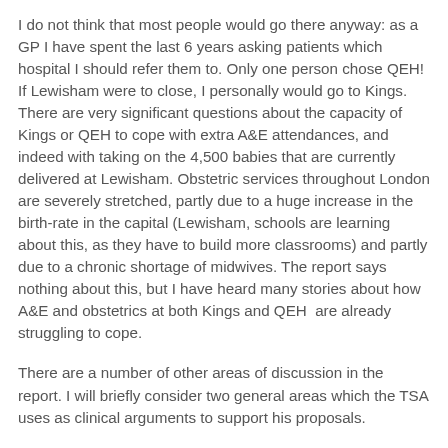I do not think that most people would go there anyway: as a GP I have spent the last 6 years asking patients which hospital I should refer them to. Only one person chose QEH! If Lewisham were to close, I personally would go to Kings. There are very significant questions about the capacity of Kings or QEH to cope with extra A&E attendances, and indeed with taking on the 4,500 babies that are currently delivered at Lewisham. Obstetric services throughout London are severely stretched, partly due to a huge increase in the birth-rate in the capital (Lewisham, schools are learning about this, as they have to build more classrooms) and partly due to a chronic shortage of midwives. The report says nothing about this, but I have heard many stories about how A&E and obstetrics at both Kings and QEH  are already struggling to cope.
There are a number of other areas of discussion in the report. I will briefly consider two general areas which the TSA uses as clinical arguments to support his proposals.
The first is the idea of care in the community, or in people's homes. This is generally thought to be a good idea, and